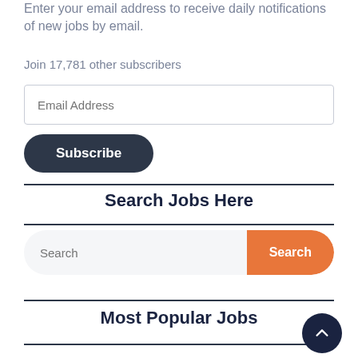Enter your email address to receive daily notifications of new jobs by email.
Join 17,781 other subscribers
Email Address
Subscribe
Search Jobs Here
Search
Search
Most Popular Jobs